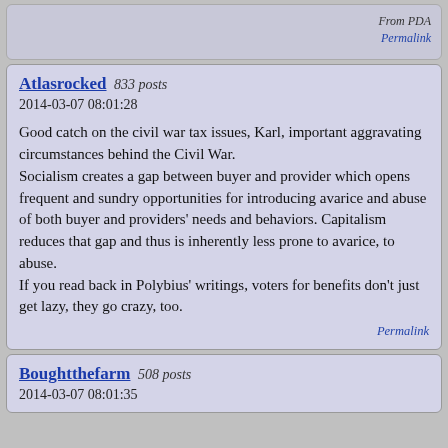From PDA
Permalink
Atlasrocked 833 posts
2014-03-07 08:01:28
Good catch on the civil war tax issues, Karl, important aggravating circumstances behind the Civil War.
Socialism creates a gap between buyer and provider which opens frequent and sundry opportunities for introducing avarice and abuse of both buyer and providers' needs and behaviors. Capitalism reduces that gap and thus is inherently less prone to avarice, to abuse.
If you read back in Polybius' writings, voters for benefits don't just get lazy, they go crazy, too.
Permalink
Boughtthefarm 508 posts
2014-03-07 08:01:35